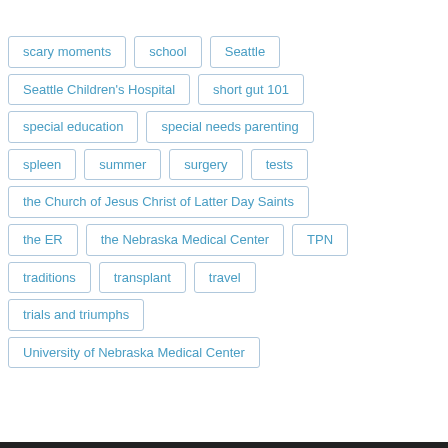scary moments
school
Seattle
Seattle Children's Hospital
short gut 101
special education
special needs parenting
spleen
summer
surgery
tests
the Church of Jesus Christ of Latter Day Saints
the ER
the Nebraska Medical Center
TPN
traditions
transplant
travel
trials and triumphs
University of Nebraska Medical Center